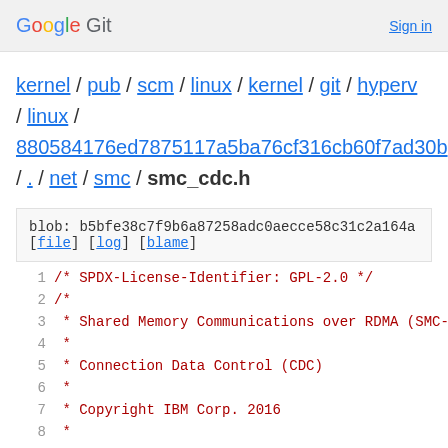Google Git  Sign in
kernel / pub / scm / linux / kernel / git / hyperv / linux / 880584176ed7875117a5ba76cf316cb60f7ad30b / . / net / smc / smc_cdc.h
blob: b5bfe38c7f9b6a87258adc0aecce58c31c2a164a
[file] [log] [blame]
1  /* SPDX-License-Identifier: GPL-2.0 */
2  /*
3   * Shared Memory Communications over RDMA (SMC-
4   *
5   * Connection Data Control (CDC)
6   *
7   * Copyright IBM Corp. 2016
8   *